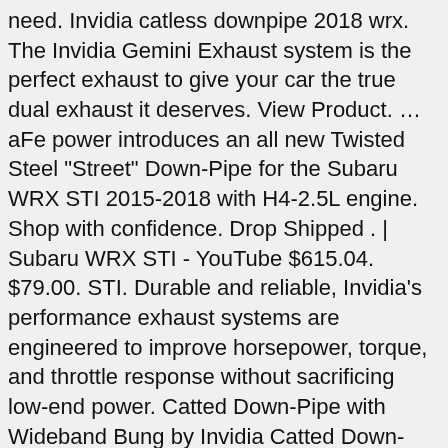need. Invidia catless downpipe 2018 wrx. The Invidia Gemini Exhaust system is the perfect exhaust to give your car the true dual exhaust it deserves. View Product. ... aFe power introduces an all new Twisted Steel "Street" Down-Pipe for the Subaru WRX STI 2015-2018 with H4-2.5L engine. Shop with confidence. Drop Shipped . | Subaru WRX STI - YouTube $615.04. $79.00. STI. Durable and reliable, Invidia's performance exhaust systems are engineered to improve horsepower, torque, and throttle response without sacrificing low-end power. Catted Down-Pipe with Wideband Bung by Invidia Catted Down-Pipe with Wideband Bung (HS15SWMDOC) by Invidia. Invidia knows that automotive enthusiasts are always looking for ways to extract more power from their engines and ... Look no further! Best Exhaust For The Price Each Invidia Downpipe features a large 4" Stainless Steel bellmouth to enhance power by freeing excess gas. Invidia's all new downpipe is a great way to start adding Horse Power and Torque gains. ETS muffled and resonated cat back with a catless invidia downpipe.